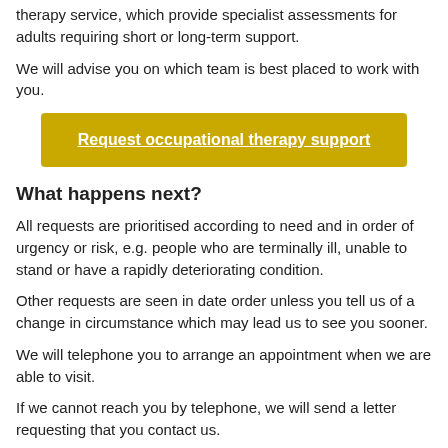therapy service, which provide specialist assessments for adults requiring short or long-term support.
We will advise you on which team is best placed to work with you.
[Figure (other): Yellow button labeled 'Request occupational therapy support']
What happens next?
All requests are prioritised according to need and in order of urgency or risk, e.g. people who are terminally ill, unable to stand or have a rapidly deteriorating condition.
Other requests are seen in date order unless you tell us of a change in circumstance which may lead us to see you sooner.
We will telephone you to arrange an appointment when we are able to visit.
If we cannot reach you by telephone, we will send a letter requesting that you contact us.